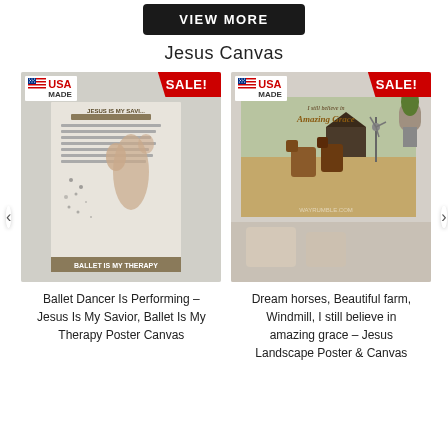[Figure (other): Dark 'VIEW MORE' button]
Jesus Canvas
[Figure (photo): Ballet dancer poster canvas showing Jesus Is My Savior, Ballet Is My Therapy with USA MADE and SALE! badges]
[Figure (photo): Dream horses landscape canvas showing Amazing Grace text with horses, barn, windmill with USA MADE and SALE! badges]
Ballet Dancer Is Performing – Jesus Is My Savior, Ballet Is My Therapy Poster Canvas
Dream horses, Beautiful farm, Windmill, I still believe in amazing grace – Jesus Landscape Poster & Canvas